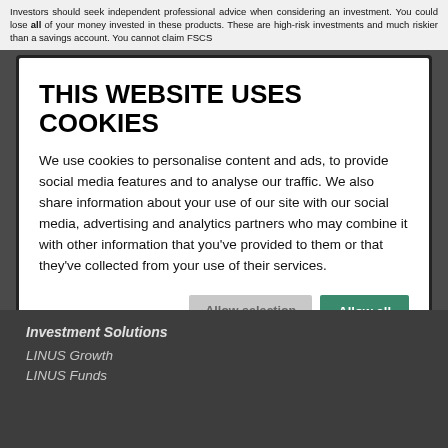Investors should seek independent professional advice when considering an investment. You could lose all of your money invested in these products. These are high-risk investments and much riskier than a savings account. You cannot claim FSCS
THIS WEBSITE USES COOKIES
We use cookies to personalise content and ads, to provide social media features and to analyse our traffic. We also share information about your use of our site with our social media, advertising and analytics partners who may combine it with other information that you've provided to them or that they've collected from your use of their services.
Allow selection | Allow all
| Necessary | Preferences | Statistics |  |
| --- | --- | --- | --- |
| Marketing |  |  | Show details |
Investment Solutions
LINUS Growth
LINUS Funds